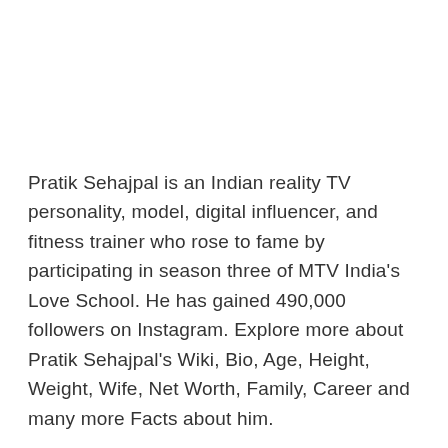Pratik Sehajpal is an Indian reality TV personality, model, digital influencer, and fitness trainer who rose to fame by participating in season three of MTV India's Love School. He has gained 490,000 followers on Instagram. Explore more about Pratik Sehajpal's Wiki, Bio, Age, Height, Weight, Wife, Net Worth, Family, Career and many more Facts about him.